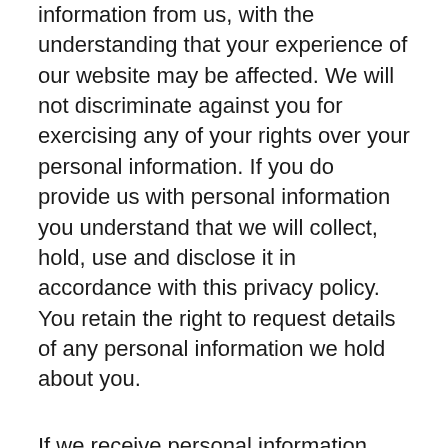information from us, with the understanding that your experience of our website may be affected. We will not discriminate against you for exercising any of your rights over your personal information. If you do provide us with personal information you understand that we will collect, hold, use and disclose it in accordance with this privacy policy. You retain the right to request details of any personal information we hold about you.
If we receive personal information about you from a third party, we will protect it as set out in this privacy policy. If you are a third party providing personal information about somebody else, you represent and warrant that you have such person's consent to provide the personal information to us.
If you have previously agreed to us using your